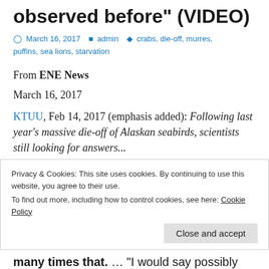observed before" (VIDEO)
March 16, 2017  admin  crabs, die-off, murres, puffins, sea lions, starvation
From ENE News
March 16, 2017
KTUU, Feb 14, 2017 (emphasis added): Following last year's massive die-off of Alaskan seabirds, scientists still looking for answers...
Privacy & Cookies: This site uses cookies. By continuing to use this website, you agree to their use.
To find out more, including how to control cookies, see here: Cookie Policy
Close and accept
many times that. … "I would say possibly